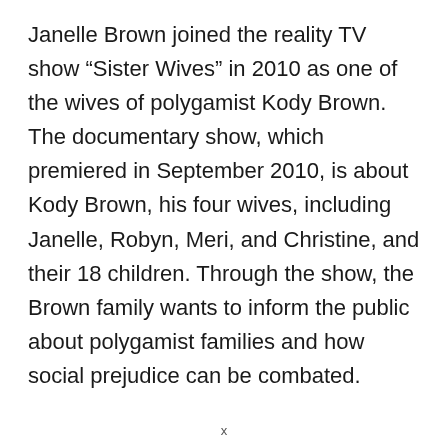Janelle Brown joined the reality TV show “Sister Wives” in 2010 as one of the wives of polygamist Kody Brown. The documentary show, which premiered in September 2010, is about Kody Brown, his four wives, including Janelle, Robyn, Meri, and Christine, and their 18 children. Through the show, the Brown family wants to inform the public about polygamist families and how social prejudice can be combated.
x